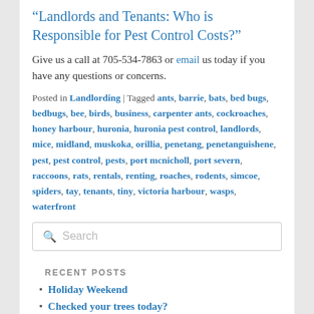“Landlords and Tenants: Who is Responsible for Pest Control Costs?”
Give us a call at 705-534-7863 or email us today if you have any questions or concerns.
Posted in Landlording | Tagged ants, barrie, bats, bed bugs, bedbugs, bee, birds, business, carpenter ants, cockroaches, honey harbour, huronia, huronia pest control, landlords, mice, midland, muskoka, orillia, penetang, penetanguishene, pest, pest control, pests, port mcnicholl, port severn, raccoons, rats, rentals, renting, roaches, rodents, simcoe, spiders, tay, tenants, tiny, victoria harbour, wasps, waterfront
Search
RECENT POSTS
Holiday Weekend
Checked your trees today?
New for 22